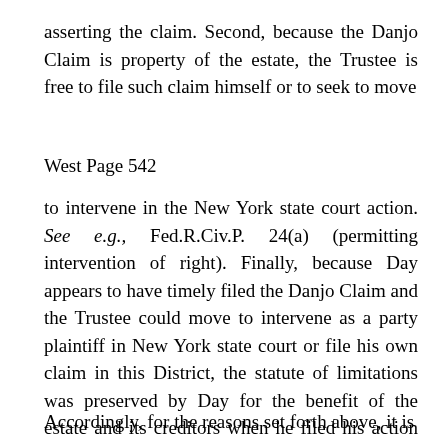asserting the claim. Second, because the Danjo Claim is property of the estate, the Trustee is free to file such claim himself or to seek to move
West Page 542
to intervene in the New York state court action. See e.g., Fed.R.Civ.P. 24(a) (permitting intervention of right). Finally, because Day appears to have timely filed the Danjo Claim and the Trustee could move to intervene as a party plaintiff in New York state court or file his own claim in this District, the statute of limitations was preserved by Day for the benefit of the estate and its creditors when he filed his action in 2001.
Accordingly, for the reasons set forth above, it is